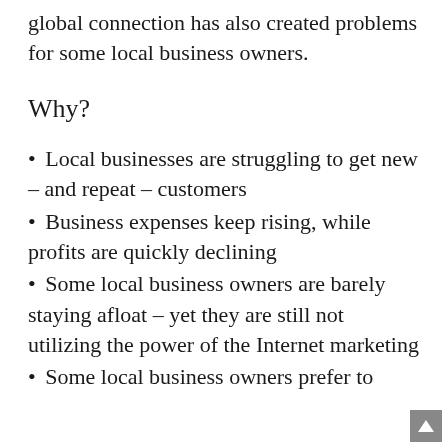global connection has also created problems for some local business owners.
Why?
Local businesses are struggling to get new – and repeat – customers
Business expenses keep rising, while profits are quickly declining
Some local business owners are barely staying afloat – yet they are still not utilizing the power of the Internet marketing
Some local business owners prefer to